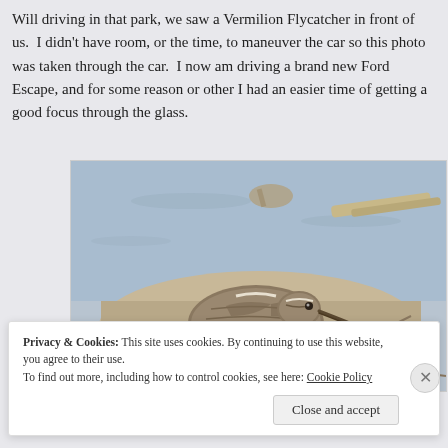Will driving in that park, we saw a Vermilion Flycatcher in front of us.  I didn't have room, or the time, to maneuver the car so this photo was taken through the car.  I now am driving a brand new Ford Escape, and for some reason or other I had an easier time of getting a good focus through the glass.
[Figure (photo): A shorebird (snipe or similar wading bird) standing in shallow water among reeds and debris. The bird has brown and buff streaked plumage. Background shows water and a stick or reed in upper right.]
Privacy & Cookies: This site uses cookies. By continuing to use this website, you agree to their use.
To find out more, including how to control cookies, see here: Cookie Policy